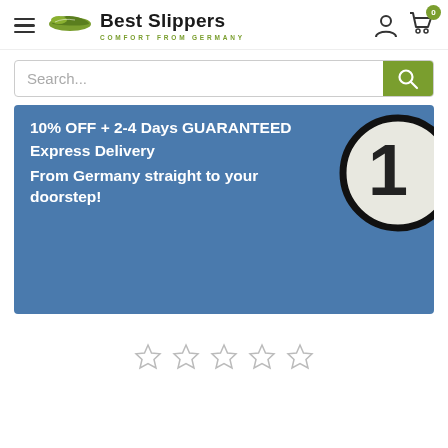[Figure (logo): Best Slippers logo with slipper icon and tagline COMFORT FROM GERMANY]
[Figure (screenshot): Search bar with green search button]
[Figure (infographic): Blue banner with text: 10% OFF + 2-4 Days GUARANTEED Express Delivery From Germany straight to your doorstep! with a partial circle/number graphic on the right]
[Figure (other): Five empty star rating icons]